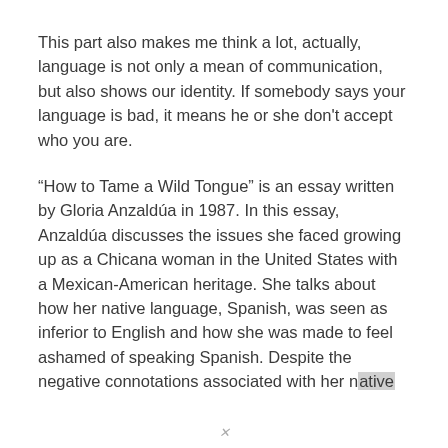This part also makes me think a lot, actually, language is not only a mean of communication, but also shows our identity. If somebody says your language is bad, it means he or she don't accept who you are.
“How to Tame a Wild Tongue” is an essay written by Gloria Anzaldúa in 1987. In this essay, Anzaldúa discusses the issues she faced growing up as a Chicana woman in the United States with a Mexican-American heritage. She talks about how her native language, Spanish, was seen as inferior to English and how she was made to feel ashamed of speaking Spanish. Despite the negative connotations associated with her native